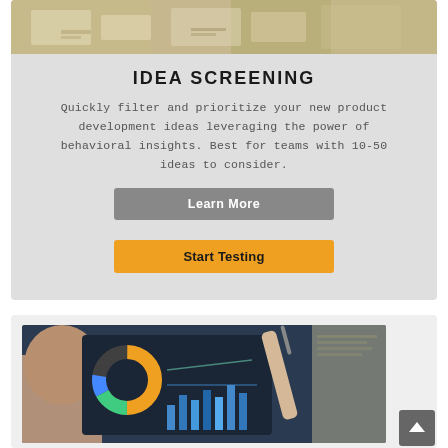[Figure (photo): Top banner photo showing papers and documents on a desk]
IDEA SCREENING
Quickly filter and prioritize your new product development ideas leveraging the power of behavioral insights. Best for teams with 10-50 ideas to consider.
Learn More
Start Testing
[Figure (photo): Photo of a person looking at a tablet displaying dashboard charts including a donut chart and bar charts]